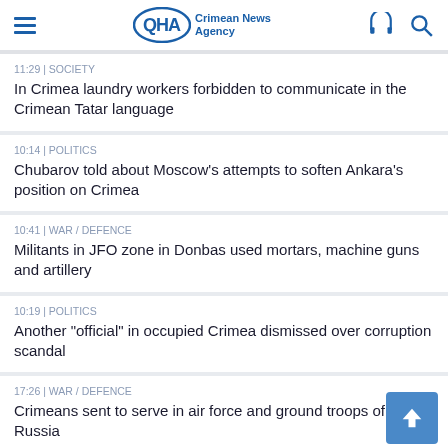QHA Crimean News Agency
11:29 | SOCIETY
In Crimea laundry workers forbidden to communicate in the Crimean Tatar language
10:14 | POLITICS
Chubarov told about Moscow's attempts to soften Ankara's position on Crimea
10:41 | WAR / DEFENCE
Militants in JFO zone in Donbas used mortars, machine guns and artillery
10:19 | POLITICS
Another "official" in occupied Crimea dismissed over corruption scandal
17:26 | WAR / DEFENCE
Crimeans sent to serve in air force and ground troops of Russia
16:36 | POLITICS
Prague demanded resignation of Czech PM over Crimean scandal with his son. Babiš said he would not leave post